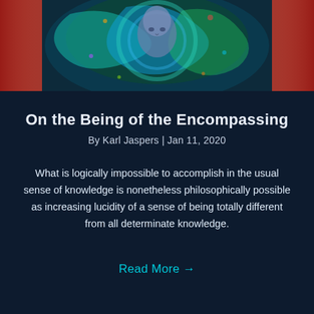[Figure (illustration): Colorful psychedelic illustration featuring a person's face surrounded by swirling blue, green, and multicolored abstract patterns. Red curtain-like elements on the sides.]
On the Being of the Encompassing
By Karl Jaspers | Jan 11, 2020
What is logically impossible to accomplish in the usual sense of knowledge is nonetheless philosophically possible as increasing lucidity of a sense of being totally different from all determinate knowledge.
Read More →